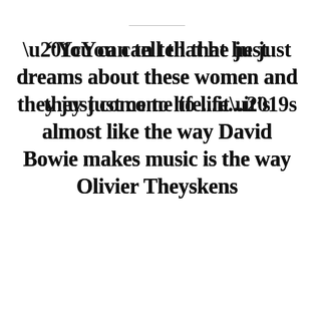“You can tell that he just dreams about these women and they just come to life…it’s almost like the way David Bowie makes music is the way Olivier Theyskens makes his.”